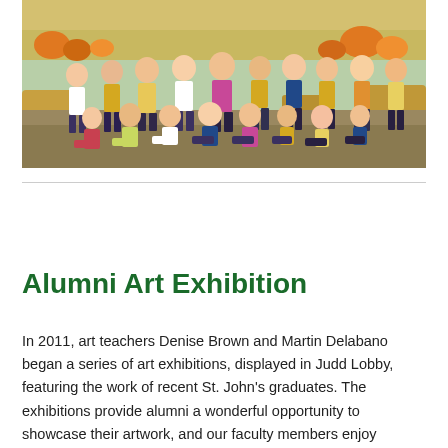[Figure (photo): Group photo of elementary school children sitting and standing outdoors at a pumpkin patch, with hay bales and pumpkins in the background. Children are wearing various colored shirts including yellow, white, and tie-dye. Some wear plaid skirts suggesting a school uniform.]
Alumni Art Exhibition
In 2011, art teachers Denise Brown and Martin Delabano began a series of art exhibitions, displayed in Judd Lobby, featuring the work of recent St. John's graduates. The exhibitions provide alumni a wonderful opportunity to showcase their artwork, and our faculty members enjoy catching up with former students, parents and friends at the